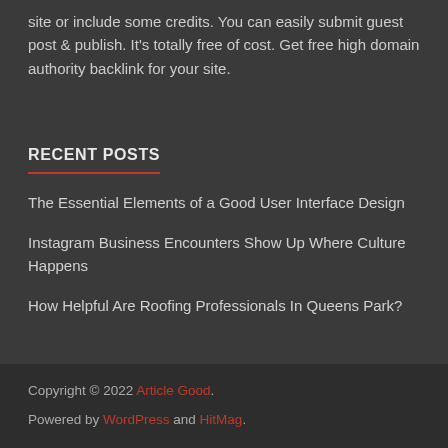site or include some credits. You can easily submit guest post & publish. It's totally free of cost. Get free high domain authority backlink for your site.
RECENT POSTS
The Essential Elements of a Good User Interface Design
Instagram Business Encounters Show Up Where Culture Happens
How Helpful Are Roofing Professionals In Queens Park?
Copyright © 2022 Article Good. Powered by WordPress and HitMag.